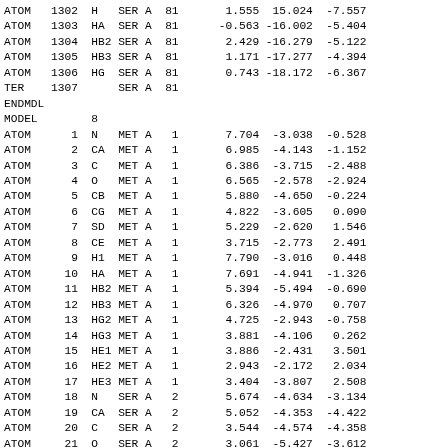| RecType | Serial | Name | Res | Chain | ResSeq | X | Y | Z |
| --- | --- | --- | --- | --- | --- | --- | --- | --- |
| ATOM | 1302 | H | SER | A | 81 | 1.555 | 15.024 | -7.557 |
| ATOM | 1303 | HA | SER | A | 81 | -0.563 | -16.002 | -5.404 |
| ATOM | 1304 | HB2 | SER | A | 81 | 2.429 | -16.279 | -5.122 |
| ATOM | 1305 | HB3 | SER | A | 81 | 1.171 | -17.277 | -4.394 |
| ATOM | 1306 | HG | SER | A | 81 | 0.743 | -18.172 | -6.367 |
| TER | 1307 |  | SER | A | 81 |  |  |  |
| ENDMDL |  |  |  |  |  |  |  |  |
| MODEL |  | 8 |  |  |  |  |  |  |
| ATOM | 1 | N | MET | A | 1 | 7.704 | -3.038 | -0.528 |
| ATOM | 2 | CA | MET | A | 1 | 6.985 | -4.143 | -1.152 |
| ATOM | 3 | C | MET | A | 1 | 6.386 | -3.715 | -2.488 |
| ATOM | 4 | O | MET | A | 1 | 6.565 | -2.578 | -2.924 |
| ATOM | 5 | CB | MET | A | 1 | 5.880 | -4.650 | -0.224 |
| ATOM | 6 | CG | MET | A | 1 | 4.822 | -3.605 | 0.090 |
| ATOM | 7 | SD | MET | A | 1 | 5.229 | -2.620 | 1.546 |
| ATOM | 8 | CE | MET | A | 1 | 3.715 | -2.773 | 2.491 |
| ATOM | 9 | H1 | MET | A | 1 | 7.790 | -3.016 | 0.448 |
| ATOM | 10 | HA | MET | A | 1 | 7.691 | -4.941 | -1.326 |
| ATOM | 11 | HB2 | MET | A | 1 | 5.394 | -5.494 | -0.690 |
| ATOM | 12 | HB3 | MET | A | 1 | 6.326 | -4.970 | 0.707 |
| ATOM | 13 | HG2 | MET | A | 1 | 4.725 | -2.943 | -0.758 |
| ATOM | 14 | HG3 | MET | A | 1 | 3.881 | -4.106 | 0.262 |
| ATOM | 15 | HE1 | MET | A | 1 | 3.886 | -2.431 | 3.501 |
| ATOM | 16 | HE2 | MET | A | 1 | 2.943 | -2.172 | 2.034 |
| ATOM | 17 | HE3 | MET | A | 1 | 3.404 | -3.807 | 2.508 |
| ATOM | 18 | N | SER | A | 2 | 5.674 | -4.634 | -3.134 |
| ATOM | 19 | CA | SER | A | 2 | 5.052 | -4.353 | -4.422 |
| ATOM | 20 | C | SER | A | 2 | 3.544 | -4.574 | -4.358 |
| ATOM | 21 | O | SER | A | 2 | 3.061 | -5.427 | -3.612 |
| ATOM | 22 | CB | SER | A | 2 | 5.663 | -5.237 | -5.511 |
| ATOM | 23 | OG | SER | A | 2 | 5.942 | -6.535 | -5.016 |